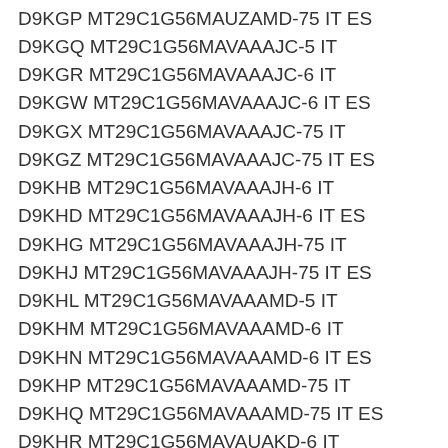D9KGP MT29C1G56MAUZAMD-75 IT ES
D9KGQ MT29C1G56MAVAAAJC-5 IT
D9KGR MT29C1G56MAVAAAJC-6 IT
D9KGW MT29C1G56MAVAAAJC-6 IT ES
D9KGX MT29C1G56MAVAAAJC-75 IT
D9KGZ MT29C1G56MAVAAAJC-75 IT ES
D9KHB MT29C1G56MAVAAAJH-6 IT
D9KHD MT29C1G56MAVAAAJH-6 IT ES
D9KHG MT29C1G56MAVAAAJH-75 IT
D9KHJ MT29C1G56MAVAAAJH-75 IT ES
D9KHL MT29C1G56MAVAAAMD-5 IT
D9KHM MT29C1G56MAVAAAMD-6 IT
D9KHN MT29C1G56MAVAAAMD-6 IT ES
D9KHP MT29C1G56MAVAAAMD-75 IT
D9KHQ MT29C1G56MAVAAAMD-75 IT ES
D9KHR MT29C1G56MAVAUAKD-6 IT
D9KHS MT29C1G56MAVAUAKD-75 IT
D9KHT MT29C1G56MAVAUAMD-5 IT
D9KHV MT29C1G56MAVAUAMD-6 IT